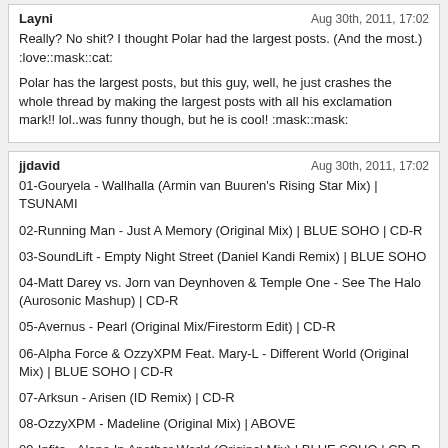Layni  Aug 30th, 2011, 17:02
Really? No shit? I thought Polar had the largest posts. (And the most.) :love::mask::cat:

Polar has the largest posts, but this guy, well, he just crashes the whole thread by making the largest posts with all his exclamation mark!! lol..was funny though, but he is cool! :mask::mask:
jjdavid  Aug 30th, 2011, 17:02
01-Gouryela - Wallhalla (Armin van Buuren's Rising Star Mix) | TSUNAMI
02-Running Man - Just A Memory (Original Mix) | BLUE SOHO | CD-R
03-SoundLift - Empty Night Street (Daniel Kandi Remix) | BLUE SOHO
04-Matt Darey vs. Jorn van Deynhoven & Temple One - See The Halo (Aurosonic Mashup) | CD-R
05-Avernus - Pearl (Original Mix/Firestorm Edit) | CD-R
06-Alpha Force & OzzyXPM Feat. Mary-L - Different World (Original Mix) | BLUE SOHO | CD-R
07-Arksun - Arisen (ID Remix) | CD-R
08-OzzyXPM - Madeline (Original Mix) | ABOVE
09-Infite - Alone In Another World (Original Mix) | BLUE SOHO | CD-R
10-Mavi - Azen (Trance Arts Remix) | BLUE SOHO | CD-R
11-Proyal - Bazaar (Original Mix) | BLUE SOHO | CD-R
12-Faruk Sabanci & Nurettin Colak - Anatolian Emotions (Mark Leanings 2011 Nailz Remix) | ARISA AUDIO